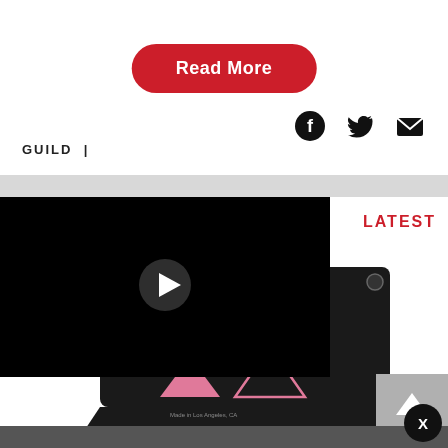Read More
[Figure (other): Social media icons: Facebook, Twitter, Email]
GUILD  |
[Figure (photo): Video player overlay on a black background showing a guitar pedal/effects unit (Lesson and Copy pedal). Video has a play button in the center. Below the video overlay is a photo of the black guitar effects pedal with pink triangle graphics, positioned on a white background.]
LATEST